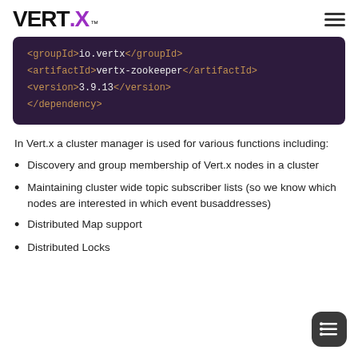VERT.X™
[Figure (screenshot): Dark purple code block showing XML dependency snippet: <groupId>io.vertx</groupId>, <artifactId>vertx-zookeeper</artifactId>, <version>3.9.13</version>, </dependency>]
In Vert.x a cluster manager is used for various functions including:
Discovery and group membership of Vert.x nodes in a cluster
Maintaining cluster wide topic subscriber lists (so we know which nodes are interested in which event busaddresses)
Distributed Map support
Distributed Locks